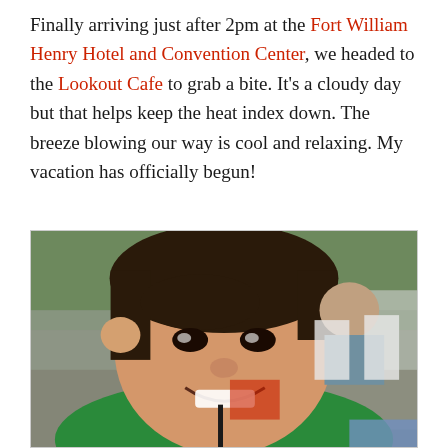Finally arriving just after 2pm at the Fort William Henry Hotel and Convention Center, we headed to the Lookout Cafe to grab a bite. It's a cloudy day but that helps keep the heat index down. The breeze blowing our way is cool and relaxing. My vacation has officially begun!
[Figure (photo): A young boy smiling at the camera while sitting at an outdoor cafe/restaurant with white chairs and tables visible in the background, along with other diners and trees.]